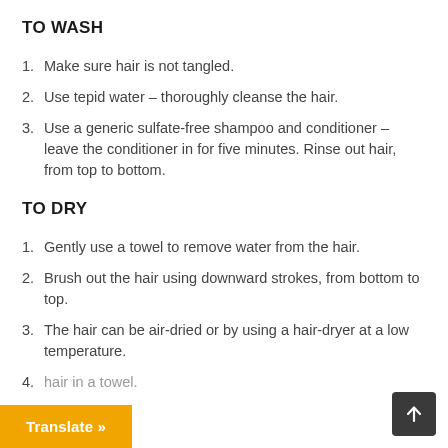TO WASH
1. Make sure hair is not tangled.
2. Use tepid water – thoroughly cleanse the hair.
3. Use a generic sulfate-free shampoo and conditioner – leave the conditioner in for five minutes. Rinse out hair, from top to bottom.
TO DRY
1. Gently use a towel to remove water from the hair.
2. Brush out the hair using downward strokes, from bottom to top.
3. The hair can be air-dried or by using a hair-dryer at a low temperature.
4. Do not put the hair in a towel.